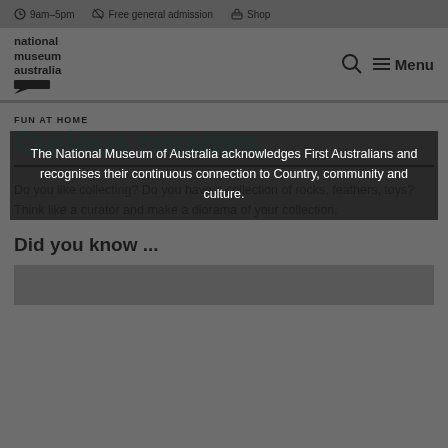9am–5pm  Free general admission  Shop
[Figure (logo): National Museum Australia logo with text and speech bubble icon]
The National Museum of Australia acknowledges First Australians and recognises their continuous connection to Country, community and culture.
FUN AT HOME
Curious curators
Do you like collecting? Do you have a collection of rocks, feathers, toys? Think like a curator and make a diorama of your collection.
Did you know ...
[Figure (photo): Partial image of museum exhibit or diorama at bottom of page]